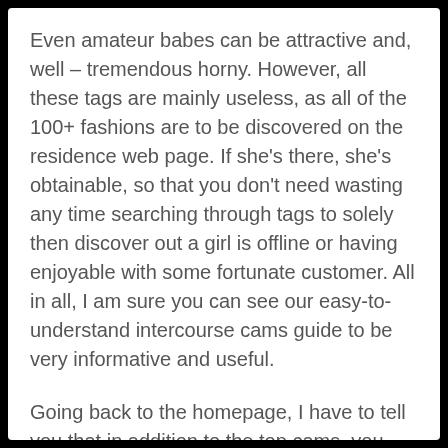Even amateur babes can be attractive and, well – tremendous horny. However, all these tags are mainly useless, as all of the 100+ fashions are to be discovered on the residence web page. If she's there, she's obtainable, so that you don't need wasting any time searching through tags to solely then discover out a girl is offline or having enjoyable with some fortunate customer. All in all, I am sure you can see our easy-to-understand intercourse cams guide to be very informative and useful.
Going back to the homepage, I have to tell you that in addition to the top cams, you ought to have couples, cams out of